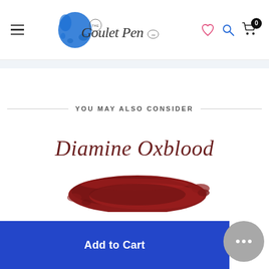The Goulet Pen Co. navigation header with hamburger menu, logo, heart icon, search icon, and cart icon
YOU MAY ALSO CONSIDER
[Figure (photo): Diamine Oxblood ink swatch showing cursive text 'Diamine Oxblood' in dark red/brown ink above a dark red ink smear on white background]
Add to Cart